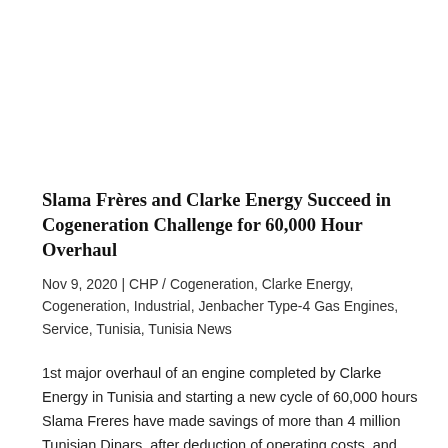Slama Frères and Clarke Energy Succeed in Cogeneration Challenge for 60,000 Hour Overhaul
Nov 9, 2020 | CHP / Cogeneration, Clarke Energy, Cogeneration, Industrial, Jenbacher Type-4 Gas Engines, Service, Tunisia, Tunisia News
1st major overhaul of an engine completed by Clarke Energy in Tunisia and starting a new cycle of 60,000 hours Slama Freres have made savings of more than 4 million Tunisian Dinars, after deduction of operating costs, and reduction of carbon emissions by more